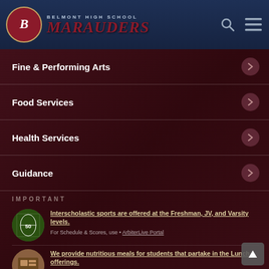BELMONT HIGH SCHOOL MARAUDERS
Fine & Performing Arts
Food Services
Health Services
Guidance
IMPORTANT
Interscholastic sports are offered at the Freshman, JV, and Varsity levels. For Schedule & Scores, use • ArbiterLive Portal
We provide nutritious meals for students that partake in the Lunch offerings. We also provide breakfast at the high school level • Lunch Menu